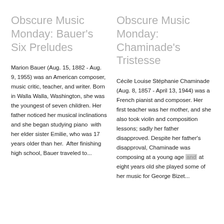Obscure Music Monday: Bauer's Six Preludes
Marion Bauer (Aug. 15, 1882 - Aug. 9, 1955) was an American composer, music critic, teacher, and writer. Born in Walla Walla, Washington, she was the youngest of seven children. Her father noticed her musical inclinations and she began studying piano with her elder sister Emilie, who was 17 years older than her. After finishing high school, Bauer traveled to...
Obscure Music Monday: Chaminade's Tristesse
Cécile Louise Stéphanie Chaminade (Aug. 8, 1857 - April 13, 1944) was a French pianist and composer. Her first teacher was her mother, and she also took violin and composition lessons; sadly her father disapproved. Despite her father's disapproval, Chaminade was composing at a young age and at eight years old she played some of her music for George Bizet...